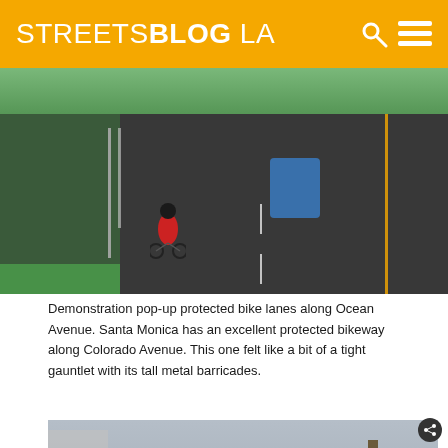STREETSBLOG LA
[Figure (photo): Demonstration pop-up protected bike lanes along Ocean Avenue. A cyclist in a red jacket rides through a green-painted bike lane separated by tall metal barricades. A road with a yellow center line is visible to the right.]
Demonstration pop-up protected bike lanes along Ocean Avenue. Santa Monica has an excellent protected bikeway along Colorado Avenue. This one felt like a bit of a tight gauntlet with its tall metal barricades.
[Figure (photo): A large colorful caterpillar parade float or art installation being carried by people in green shirts along a street. Palm trees and buildings are visible in the background under an overcast sky.]